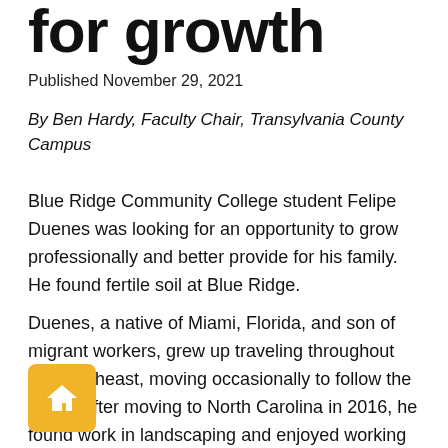for growth
Published November 29, 2021
By Ben Hardy, Faculty Chair, Transylvania County Campus
Blue Ridge Community College student Felipe Duenes was looking for an opportunity to grow professionally and better provide for his family. He found fertile soil at Blue Ridge.
Duenes, a native of Miami, Florida, and son of migrant workers, grew up traveling throughout the Southeast, moving occasionally to follow the crops. After moving to North Carolina in 2016, he found work in landscaping and enjoyed working outdoors. But, said Duenes, “I was getting tired of getting laid off after the fall season, so I